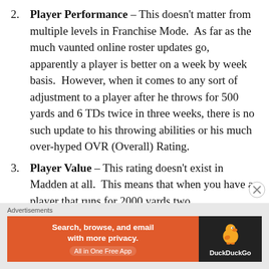2. Player Performance – This doesn't matter from multiple levels in Franchise Mode. As far as the much vaunted online roster updates go, apparently a player is better on a week by week basis. However, when it comes to any sort of adjustment to a player after he throws for 500 yards and 6 TDs twice in three weeks, there is no such update to his throwing abilities or his much over-hyped OVR (Overall) Rating.
3. Player Value – This rating doesn't exist in Madden at all. This means that when you have a player that runs for 2000 yards two
Advertisements
[Figure (infographic): DuckDuckGo advertisement banner. Left side orange background with text 'Search, browse, and email with more privacy.' and 'All in One Free App'. Right side dark background with DuckDuckGo duck logo and 'DuckDuckGo' text.]